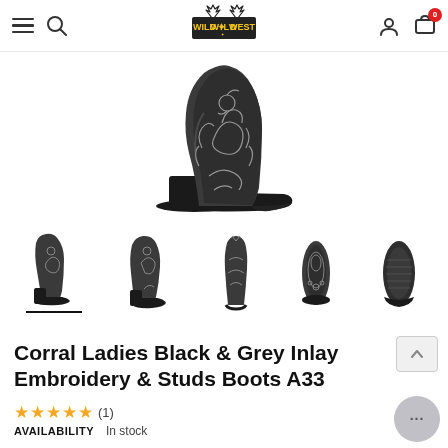Wild West (logo), hamburger menu, search, user icon, cart (0)
[Figure (photo): Close-up of a black and grey cowboy boot with intricate floral scroll embroidery and studs on the vamp, shown from a side-low angle against white background.]
[Figure (photo): Row of five thumbnail images of the Corral Ladies Black & Grey Inlay Embroidery & Studs Boots A33xx: full side view, front-angled view, back view, front view, and bottom sole view.]
Corral Ladies Black & Grey Inlay Embroidery & Studs Boots A33...
★★★★★ (1)
AVAILABILITY    In stock